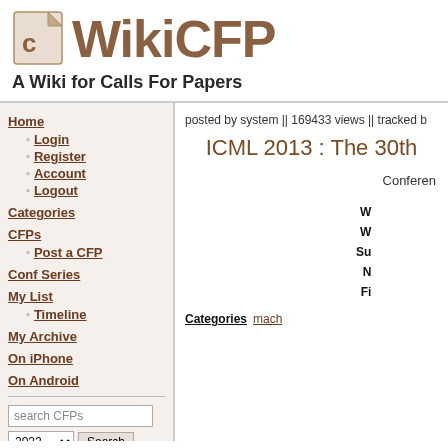WikiCFP — A Wiki for Calls For Papers
Home
Login
Register
Account
Logout
Categories
CFPs
Post a CFP
Conf Series
My List
Timeline
My Archive
On iPhone
On Android
posted by system || 169433 views || tracked b
ICML 2013 : The 30th
Conferen
| Field | Value |
| --- | --- |
| W |  |
| W |  |
| Su |  |
| N |  |
| Fi |  |
Categories  mach